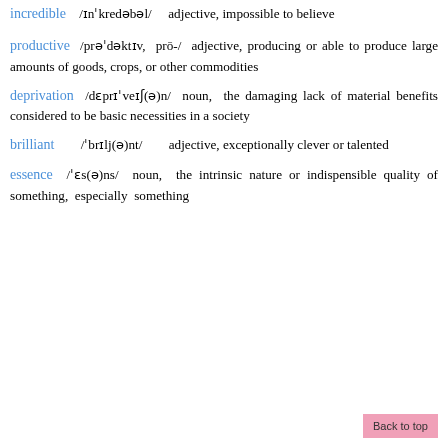incredible /ɪnˈkredəbəl/ adjective, impossible to believe
productive /prəˈdəktɪv, prō-/ adjective, producing or able to produce large amounts of goods, crops, or other commodities
deprivation /dɛprɪˈveɪʃ(ə)n/ noun, the damaging lack of material benefits considered to be basic necessities in a society
brilliant /ˈbrɪlj(ə)nt/ adjective, exceptionally clever or talented
essence /ˈɛs(ə)ns/ noun, the intrinsic nature or indispensible quality of something, especially something